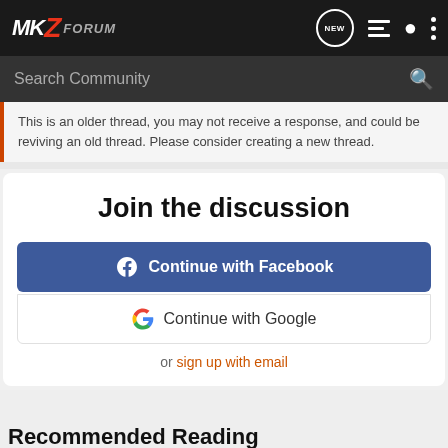MKZ Forum
This is an older thread, you may not receive a response, and could be reviving an old thread. Please consider creating a new thread.
Join the discussion
Continue with Facebook
Continue with Google
or sign up with email
Recommended Reading